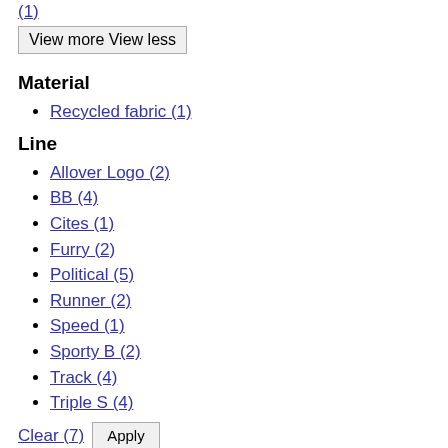(1) [link, partially visible at top]
View more View less
Material
Recycled fabric (1)
Line
Allover Logo (2)
BB (4)
Cites (1)
Furry (2)
Political (5)
Runner (2)
Speed (1)
Sporty B (2)
Track (4)
Triple S (4)
Clear (7)  Apply
Load products :